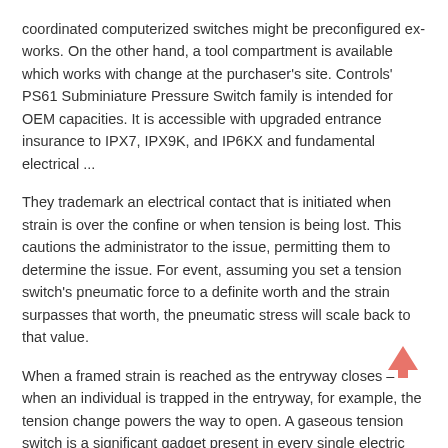coordinated computerized switches might be preconfigured ex-works. On the other hand, a tool compartment is available which works with change at the purchaser's site. Controls' PS61 Subminiature Pressure Switch family is intended for OEM capacities. It is accessible with upgraded entrance insurance to IPX7, IPX9K, and IP6KX and fundamental electrical ...
They trademark an electrical contact that is initiated when strain is over the confine or when tension is being lost. This cautions the administrator to the issue, permitting them to determine the issue. For event, assuming you set a tension switch's pneumatic force to a definite worth and the strain surpasses that worth, the pneumatic stress will scale back to that value.
When a framed strain is reached as the entryway closes – when an individual is trapped in the entryway, for example, the tension change powers the way to open. A gaseous tension switch is a significant gadget present in every single electric model. Pressure switches are utilized significantly in a lot of purposes in businesses and assembling things.
Our experts are constantly accessible to offer the essential